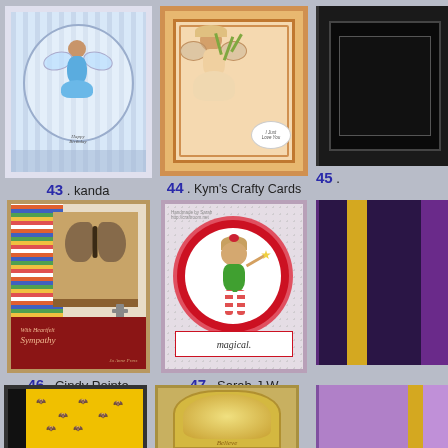[Figure (photo): Handmade greeting card #43 by kanda - features a blue fairy/pixie on light blue striped background with floral border]
43 . kanda
[Figure (photo): Handmade greeting card #44 by Kym's Crafty Cards - orange/peach colored card with flower fairy and 'I Just Love You' circular label]
44 . Kym's Crafty Cards
[Figure (photo): Handmade greeting card #45 - partially cropped dark card]
45 .
[Figure (photo): Handmade greeting card #46 by Cindy Pointe - sympathy card with butterfly and striped pattern, red/crimson bottom with script text]
46 . Cindy Pointe
[Figure (photo): Handmade greeting card #47 by Sarah-J W - white dotted card with fairy in green dress inside red scalloped circle, 'magical' banner at bottom]
47 . Sarah-J W
[Figure (photo): Partially cropped purple card #48]
[Figure (photo): Card with yellow and black bat pattern]
[Figure (photo): Card with golden arch frame and 'Believe' text with glitter effect]
[Figure (photo): Partially cropped purple/gold card on right]